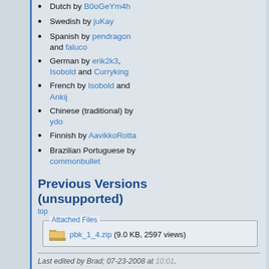Dutch by B0oGeYm4h
Swedish by juKay
Spanish by pendragon and faluco
German by erik2k3, Isobold and Curryking
French by Isobold and Ankij
Chinese (traditional) by ydo
Finnish by AavikkoRotta
Brazilian Portuguese by commonbullet
Previous Versions (unsupported)
top
Attached Files
pbk_1_4.zip (9.0 KB, 2597 views)
Last edited by Brad; 07-23-2008 at 10:01.